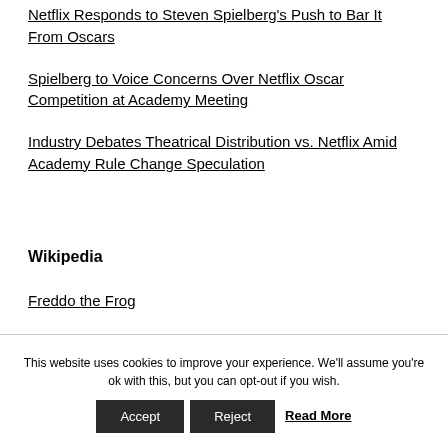Netflix Responds to Steven Spielberg's Push to Bar It From Oscars
Spielberg to Voice Concerns Over Netflix Oscar Competition at Academy Meeting
Industry Debates Theatrical Distribution vs. Netflix Amid Academy Rule Change Speculation
Wikipedia
Freddo the Frog
This website uses cookies to improve your experience. We'll assume you're ok with this, but you can opt-out if you wish.